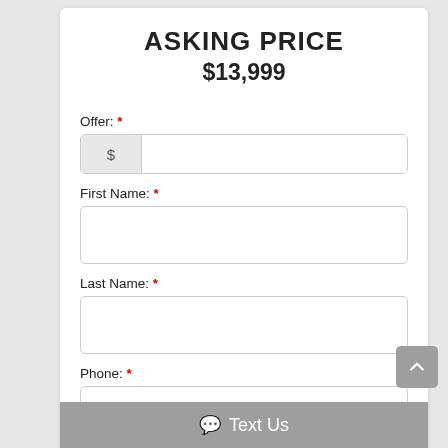ASKING PRICE
$13,999
Offer: *
First Name: *
Last Name: *
Phone: *
Email: *
Text Us